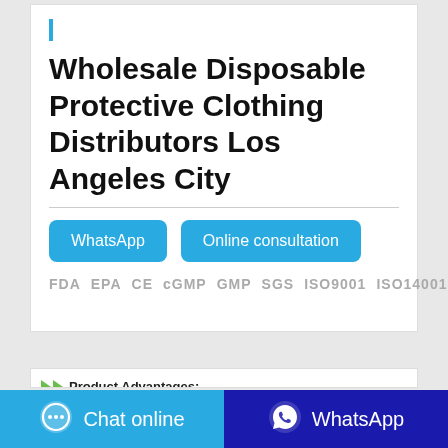Wholesale Disposable Protective Clothing Distributors Los Angeles City
WhatsApp   Online consultation
FDA  EPA  CE  cGMP  GMP  SGS  ISO9001  ISO14001
Product Advantages:
[Figure (photo): Person wearing protective clothing with numbered callout points 1 and 2]
Chat online   WhatsApp